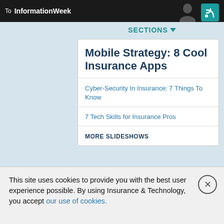To InformationWeek
SECTIONS
Mobile Strategy: 8 Cool Insurance Apps
Cyber-Security In Insurance: 7 Things To Know
7 Tech Skills for Insurance Pros
MORE SLIDESHOWS
VIDEO
[Figure (photo): Video thumbnail showing a woman with glasses indoors]
[Figure (photo): Video thumbnail showing trees and cloudy sky]
This site uses cookies to provide you with the best user experience possible. By using Insurance & Technology, you accept our use of cookies.